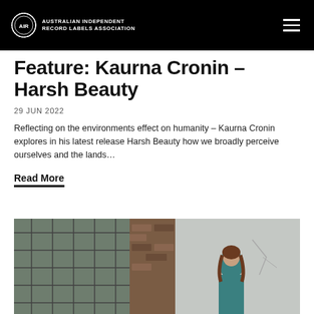Australian Independent Record Labels Association
Feature: Kaurna Cronin – Harsh Beauty
29 JUN 2022
Reflecting on the environments effect on humanity – Kaurna Cronin explores in his latest release Harsh Beauty how we broadly perceive ourselves and the lands…
Read More
[Figure (photo): Photograph of a person standing in an industrial space with a metal wire window frame on the left, exposed brick in the center, and a light-colored wall on the right. The person appears to be wearing a teal/green outfit.]